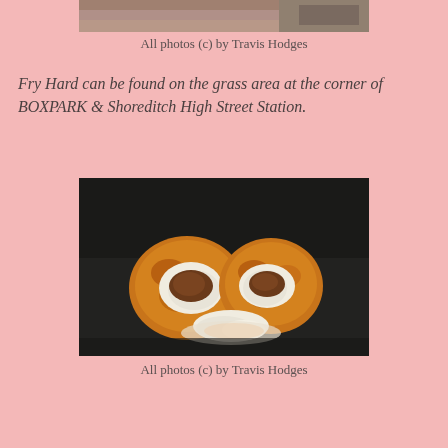[Figure (photo): Partial view of food item at top of page, cropped]
All photos (c) by Travis Hodges
Fry Hard can be found on the grass area at the corner of BOXPARK & Shoreditch High Street Station.
[Figure (photo): Close-up photo of a fried food item split in half on a dark surface, with cream/sauce oozing out]
All photos (c) by Travis Hodges